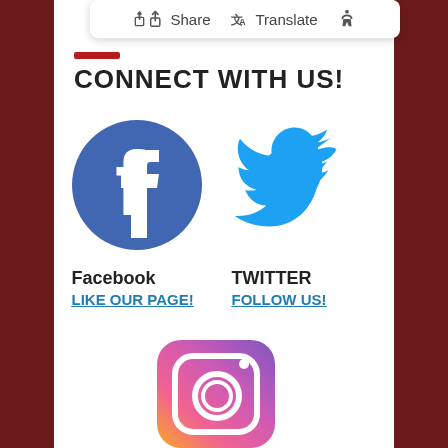[Figure (screenshot): Browser toolbar overlay showing Share, Translate, and accessibility icons]
CONNECT WITH US!
[Figure (logo): Facebook logo — blue circle with white lowercase f]
Facebook
LIKE OUR PAGE!
[Figure (logo): Twitter logo — blue bird silhouette]
TWITTER
FOLLOW US!
[Figure (logo): Instagram logo — gradient rounded square with camera icon]